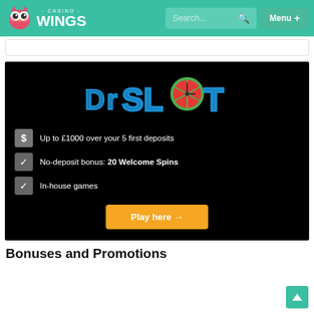Casino Wings – Search… Menu +
[Figure (screenshot): Dr Slot casino banner on black background with logo, bullet points listing Up to £1000 over your 5 first deposits, No-deposit bonus: 20 Welcome Spins, In-house games, and an orange Play here button]
Up to £1000 over your 5 first deposits
No-deposit bonus: 20 Welcome Spins
In-house games
Bonuses and Promotions